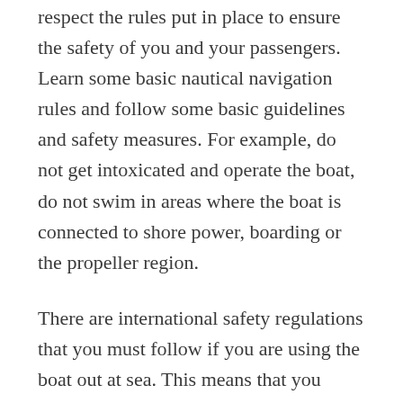respect the rules put in place to ensure the safety of you and your passengers. Learn some basic nautical navigation rules and follow some basic guidelines and safety measures. For example, do not get intoxicated and operate the boat, do not swim in areas where the boat is connected to shore power, boarding or the propeller region.
There are international safety regulations that you must follow if you are using the boat out at sea. This means that you should always plan your voyage, carry a radar reflector, a diagram of life-saving signals, use any distress signals properly, and you must always help another vessel if they need it. If at any point you are involved in a boating accident, and you are found not to have followed